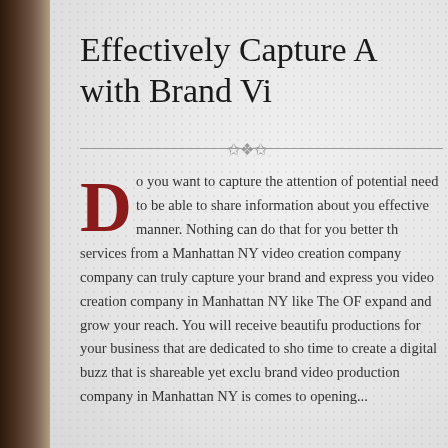Effectively Capture A with Brand Vi
Do you want to capture the attention of potential need to be able to share information about you effective manner. Nothing can do that for you better th services from a Manhattan NY video creation company company can truly capture your brand and express you video creation company in Manhattan NY like The OF expand and grow your reach. You will receive beautifu productions for your business that are dedicated to sho time to create a digital buzz that is shareable yet exclu brand video production company in Manhattan NY is comes to opening...